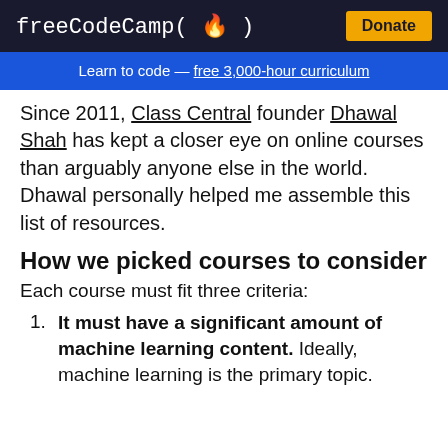freeCodeCamp(🔥) Donate
Learn to code — free 3,000-hour curriculum
Since 2011, Class Central founder Dhawal Shah has kept a closer eye on online courses than arguably anyone else in the world. Dhawal personally helped me assemble this list of resources.
How we picked courses to consider
Each course must fit three criteria:
It must have a significant amount of machine learning content. Ideally, machine learning is the primary topic.